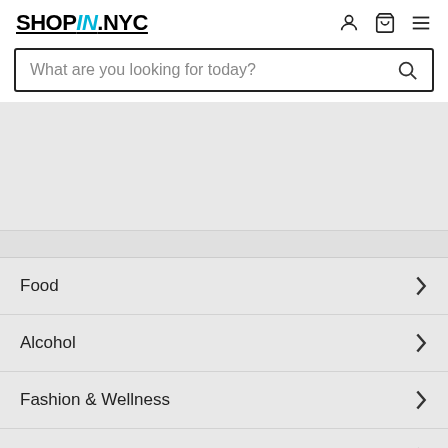SHOPIN.NYC
What are you looking for today?
[Figure (screenshot): Gray banner area at top of page]
Food
Alcohol
Fashion & Wellness
Home & Kitchen